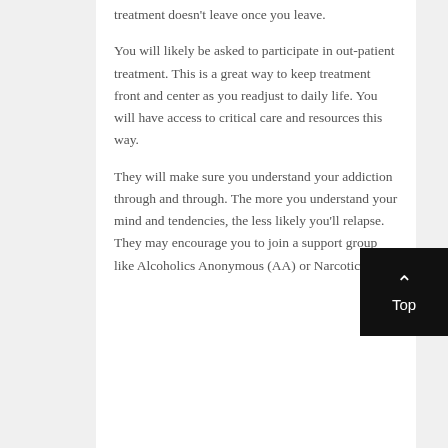treatment doesn't leave once you leave.
You will likely be asked to participate in out-patient treatment. This is a great way to keep treatment front and center as you readjust to daily life. You will have access to critical care and resources this way.
They will make sure you understand your addiction through and through. The more you understand your mind and tendencies, the less likely you'll relapse. They may encourage you to join a support group like Alcoholics Anonymous (AA) or Narcotics